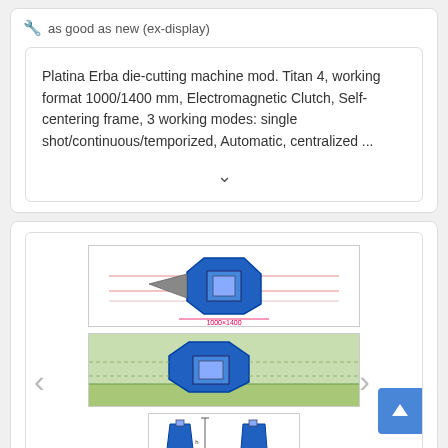🔧 as good as new (ex-display)
Platina Erba die-cutting machine mod. Titan 4, working format 1000/1400 mm, Electromagnetic Clutch, Self-centering frame, 3 working modes: single shot/continuous/temporized, Automatic, centralized ...
[Figure (engineering-diagram): Top-down engineering/CAD view of Platina Erba die-cutting machine Titan 4, showing format dimensions 1000×1400 mm, with blue 3D model of machine head]
[Figure (engineering-diagram): Side-on green/blue CAD rendering of die-cutting machine layout]
[Figure (engineering-diagram): Front elevation schematic of press tooling components in blue/green]